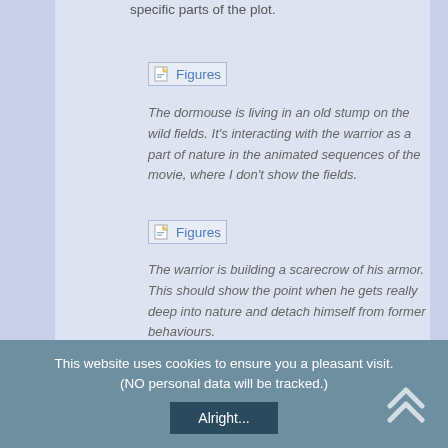specific parts of the plot.
[Figure (other): Figures link icon with label 'Figures']
The dormouse is living in an old stump on the wild fields. It's interacting with the warrior as a part of nature in the animated sequences of the movie, where I don't show the fields.
[Figure (other): Figures link icon with label 'Figures']
The warrior is building a scarecrow of his armor. This should show the point when he gets really deep into nature and detach himself from former behaviours.
This website uses cookies to ensure you a pleasant visit. (NO personal data will be tracked.)